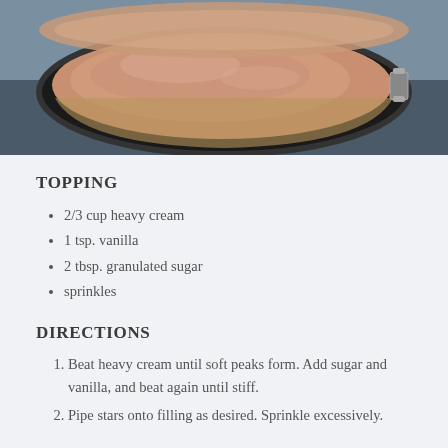[Figure (photo): Close-up photo of a cheesecake in a black springform pan, showing the top surface with a creamy filling, viewed from slightly above.]
TOPPING
2/3 cup heavy cream
1 tsp. vanilla
2 tbsp. granulated sugar
sprinkles
DIRECTIONS
Beat heavy cream until soft peaks form. Add sugar and vanilla, and beat again until stiff.
Pipe stars onto filling as desired. Sprinkle excessively.